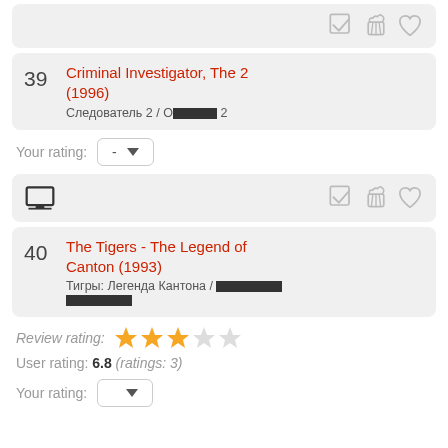[Figure (screenshot): Action icons: checkmark, popcorn bucket, heart — grayed out]
39 Criminal Investigator, The 2 (1996) — Следователь 2 / О██ 2
Your rating: -
[Figure (screenshot): TV icon on left; checkmark, popcorn, heart icons on right — grayed out]
40 The Tigers - The Legend of Canton (1993) — Тигры: Легенда Кантона / ██████ ██████
Review rating: ★★★★☆ (3.5 stars)
User rating: 6.8 (ratings: 3)
Your rating: